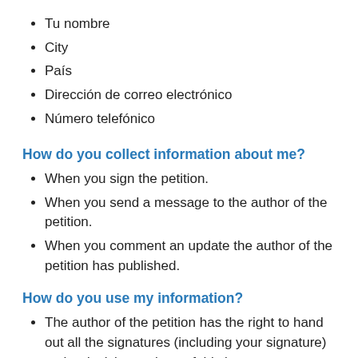Tu nombre
City
País
Dirección de correo electrónico
Número telefónico
How do you collect information about me?
When you sign the petition.
When you send a message to the author of the petition.
When you comment an update the author of the petition has published.
How do you use my information?
The author of the petition has the right to hand out all the signatures (including your signature) to the decision makers of this issue.
You will receive an email when the author of the petition publishes an update if you have given a